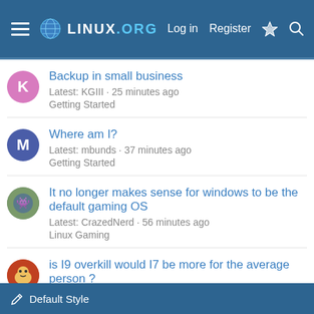LINUX.ORG — Log in  Register
Backup in small business
Latest: KGIII · 25 minutes ago
Getting Started
Where am I?
Latest: mbunds · 37 minutes ago
Getting Started
It no longer makes sense for windows to be the default gaming OS
Latest: CrazedNerd · 56 minutes ago
Linux Gaming
is I9 overkill would I7 be more for the average person ?
Latest: Bartman · Today at 5:00 PM
Desktop
< Linux Audio / Video
Default Style